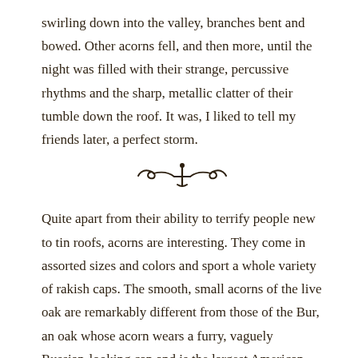swirling down into the valley, branches bent and bowed. Other acorns fell, and then more, until the night was filled with their strange, percussive rhythms and the sharp, metallic clatter of their tumble down the roof. It was, I liked to tell my friends later, a perfect storm.
[Figure (illustration): Decorative section divider: a symmetrical ornamental flourish with curling scrolls on each side and a small anchor/cross shape in the center]
Quite apart from their ability to terrify people new to tin roofs, acorns are interesting. They come in assorted sizes and colors and sport a whole variety of rakish caps. The smooth, small acorns of the live oak are remarkably different from those of the Bur, an oak whose acorn wears a furry, vaguely Russian-looking cap and is the largest American acorn.
Practically speaking, acorns are a critical part of the